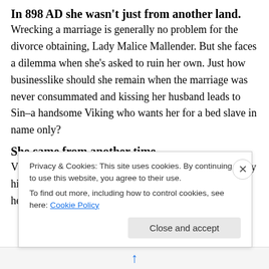In 898 AD she wasn't just from another land.
Wrecking a marriage is generally no problem for the divorce obtaining, Lady Malice Mallender. But she faces a dilemma when she's asked to ruin her own. Just how businesslike should she remain when the marriage was never consummated and kissing her husband leads to Sin–a handsome Viking who wants her for a bed slave in name only?
She came from another time.
Viking raider Sin Gudrunsson wants one thing. To marry his childhood sweetheart. Only she's left him before, so he
Privacy & Cookies: This site uses cookies. By continuing to use this website, you agree to their use.
To find out more, including how to control cookies, see here: Cookie Policy